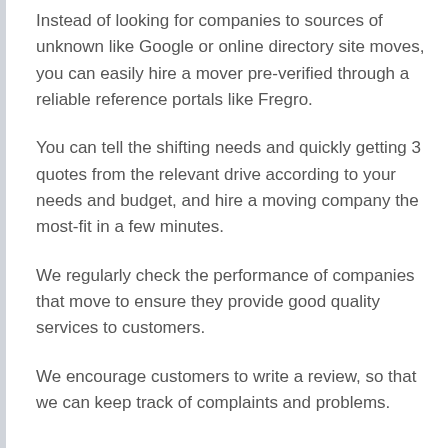Instead of looking for companies to sources of unknown like Google or online directory site moves, you can easily hire a mover pre-verified through a reliable reference portals like Fregro.
You can tell the shifting needs and quickly getting 3 quotes from the relevant drive according to your needs and budget, and hire a moving company the most-fit in a few minutes.
We regularly check the performance of companies that move to ensure they provide good quality services to customers.
We encourage customers to write a review, so that we can keep track of complaints and problems.